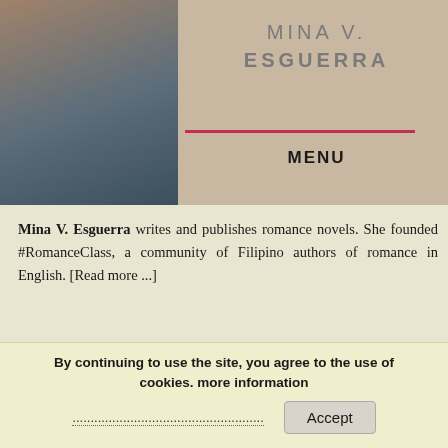[Figure (photo): Partial photo of a person, cropped at top of page, left side in dark tones]
MINA V. ESGUERRA
MENU
Mina V. Esguerra writes and publishes romance novels. She founded #RomanceClass, a community of Filipino authors of romance in English. [Read more ...]
ARCHIVES
By continuing to use the site, you agree to the use of cookies. more information
Accept